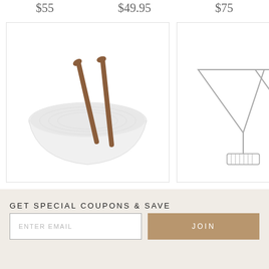$55  $49.95  $75
[Figure (photo): White salad bowl with wooden servers/spoons inside]
[Figure (photo): Two Nachtmann Punk cocktail martini glasses, crystal with faceted bases]
Kate Spade China by Lenox, Wickford Salad Set With Servers
$125
Nachtmann Punk Cocktail, Martini Glasses, Pair
$55
GET SPECIAL COUPONS & SAVE
ENTER EMAIL
JOIN